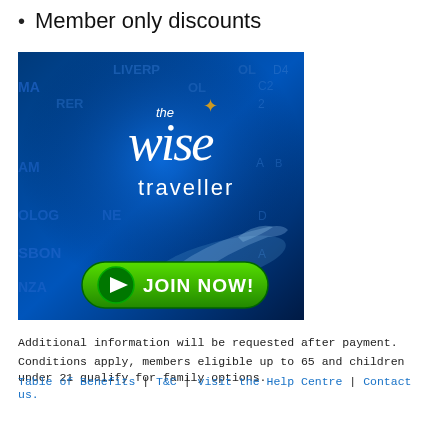Member only discounts
[Figure (illustration): The Wise Traveller advertisement banner with blue background showing city name letters (LIVERPOOL, MALAGA, BERLIN, AMSTERDAM, COLOGNE, LISBON, TANZANIA) and an airplane, featuring the logo 'the wise traveller' with a star, and a green 'JOIN NOW!' button with play icon]
Additional information will be requested after payment.
Conditions apply, members eligible up to 65 and children under 21 qualify for family options.
Table of Benefits | T&C | visit the Help Centre | Contact us.